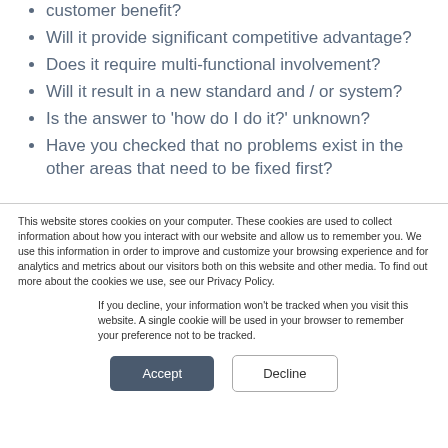customer benefit?
Will it provide significant competitive advantage?
Does it require multi-functional involvement?
Will it result in a new standard and / or system?
Is the answer to 'how do I do it?' unknown?
Have you checked that no problems exist in the other areas that need to be fixed first?
This website stores cookies on your computer. These cookies are used to collect information about how you interact with our website and allow us to remember you. We use this information in order to improve and customize your browsing experience and for analytics and metrics about our visitors both on this website and other media. To find out more about the cookies we use, see our Privacy Policy.
If you decline, your information won't be tracked when you visit this website. A single cookie will be used in your browser to remember your preference not to be tracked.